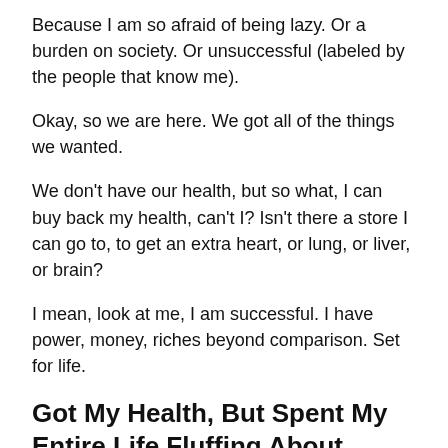Because I am so afraid of being lazy. Or a burden on society. Or unsuccessful (labeled by the people that know me).
Okay, so we are here. We got all of the things we wanted.
We don't have our health, but so what, I can buy back my health, can't I? Isn't there a store I can go to, to get an extra heart, or lung, or liver, or brain?
I mean, look at me, I am successful. I have power, money, riches beyond comparison. Set for life.
Got My Health, But Spent My Entire Life Fluffing About Doing Nothing